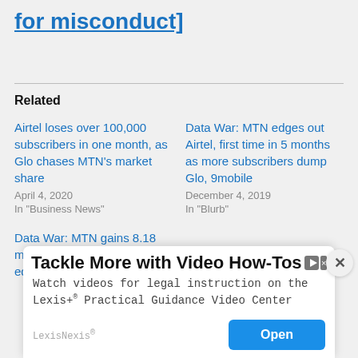for misconduct]
Related
Airtel loses over 100,000 subscribers in one month, as Glo chases MTN's market share
April 4, 2020
In "Business News"
Data War: MTN edges out Airtel, first time in 5 months as more subscribers dump Glo, 9mobile
December 4, 2019
In "Blurb"
Data War: MTN gains 8.18 million subscribers, as Airtel edges Glo, 9mobile in 2019
[Figure (screenshot): Advertisement overlay: 'Tackle More with Video How-Tos' from LexisNexis, with Open button]